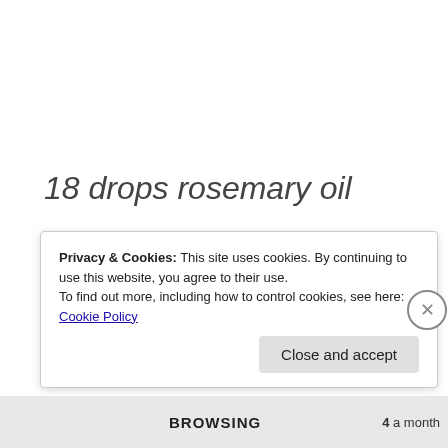18 drops rosemary oil
3 drops rose hip seed oil
3 drops sage oil
Privacy & Cookies: This site uses cookies. By continuing to use this website, you agree to their use. To find out more, including how to control cookies, see here: Cookie Policy
Close and accept
BROWSING 4 a month